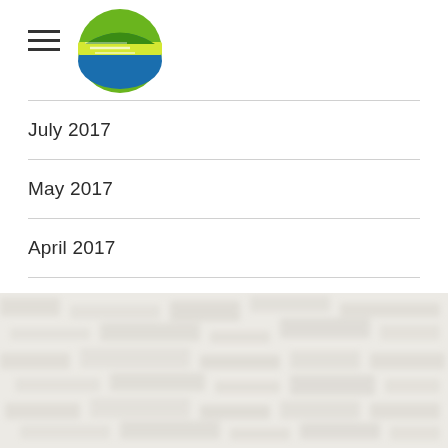[Figure (logo): Circular logo with green and blue globe design with speed-line streaks through it, suggesting a stylized S or globe icon]
July 2017
May 2017
April 2017
[Figure (photo): Blurred/out-of-focus texture image in light beige/cream tones forming the page footer background]